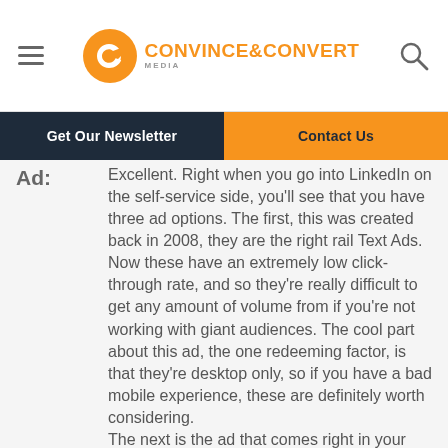Convince & Convert
Get Our Newsletter
Contact Us
Ad:
Excellent. Right when you go into LinkedIn on the self-service side, you'll see that you have three ad options. The first, this was created back in 2008, they are the right rail Text Ads. Now these have an extremely low click-through rate, and so they're really difficult to get any amount of volume from if you're not working with giant audiences. The cool part about this ad, the one redeeming factor, is that they're desktop only, so if you have a bad mobile experience, these are definitely worth considering. The next is the ad that comes right in your newsfeed on both mobile and desktop, and that's called Sponsored